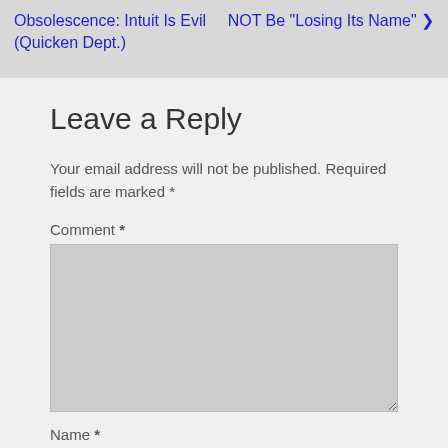Obsolescence: Intuit Is Evil (Quicken Dept.)  |  NOT Be "Losing Its Name" ›
Leave a Reply
Your email address will not be published. Required fields are marked *
Comment *
Name *